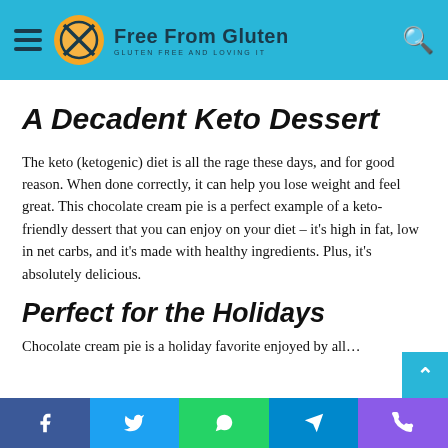Free From Gluten — GLUTEN FREE AND LOVING IT
A Decadent Keto Dessert
The keto (ketogenic) diet is all the rage these days, and for good reason. When done correctly, it can help you lose weight and feel great. This chocolate cream pie is a perfect example of a keto-friendly dessert that you can enjoy on your diet – it's high in fat, low in net carbs, and it's made with healthy ingredients. Plus, it's absolutely delicious.
Perfect for the Holidays
Chocolate cream pie is a holiday favorite enjoyed by all…